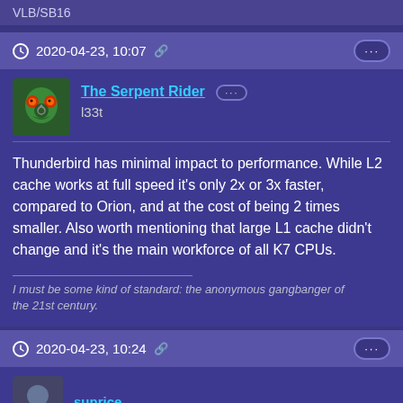VLB/SB16
2020-04-23, 10:07
The Serpent Rider
l33t
Thunderbird has minimal impact to performance. While L2 cache works at full speed it's only 2x or 3x faster, compared to Orion, and at the cost of being 2 times smaller. Also worth mentioning that large L1 cache didn't change and it's the main workforce of all K7 CPUs.
I must be some kind of standard: the anonymous gangbanger of the 21st century.
2020-04-23, 10:24